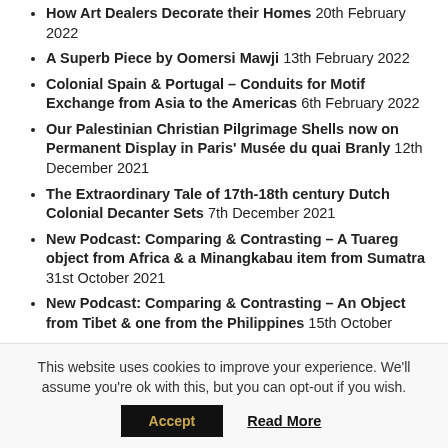How Art Dealers Decorate their Homes 20th February 2022
A Superb Piece by Oomersi Mawji 13th February 2022
Colonial Spain & Portugal – Conduits for Motif Exchange from Asia to the Americas 6th February 2022
Our Palestinian Christian Pilgrimage Shells now on Permanent Display in Paris' Musée du quai Branly 12th December 2021
The Extraordinary Tale of 17th-18th century Dutch Colonial Decanter Sets 7th December 2021
New Podcast: Comparing & Contrasting – A Tuareg object from Africa & a Minangkabau item from Sumatra 31st October 2021
New Podcast: Comparing & Contrasting – An Object from Tibet & one from the Philippines 15th October
This website uses cookies to improve your experience. We'll assume you're ok with this, but you can opt-out if you wish.